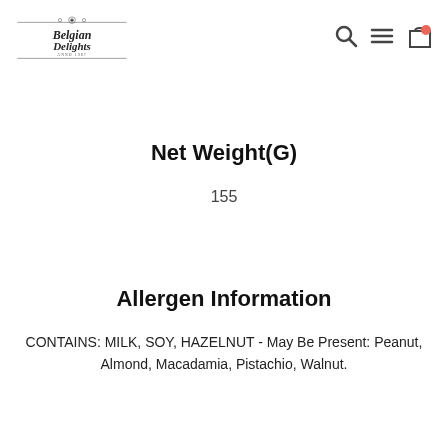Belgian Delights logo and navigation icons
Net Weight(G)
155
Allergen Information
CONTAINS: MILK, SOY, HAZELNUT - May Be Present: Peanut, Almond, Macadamia, Pistachio, Walnut.